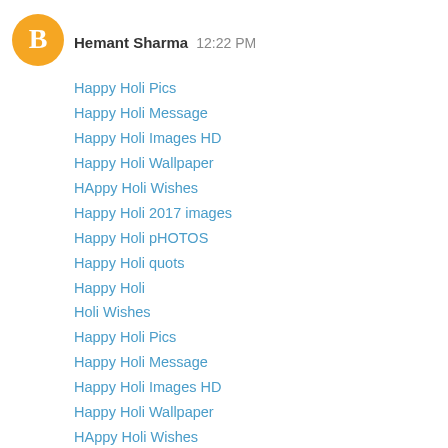[Figure (illustration): Orange circle with white blogger 'B' icon avatar]
Hemant Sharma  12:22 PM
Happy Holi Pics
Happy Holi Message
Happy Holi Images HD
Happy Holi Wallpaper
HAppy Holi Wishes
Happy Holi 2017 images
Happy Holi pHOTOS
Happy Holi quots
Happy Holi
Holi Wishes
Happy Holi Pics
Happy Holi Message
Happy Holi Images HD
Happy Holi Wallpaper
HAppy Holi Wishes
Happy Holi 2017 images
Happy Holi pHOTOS
Happy Holi quots
Happy Holi
Holi Wishes